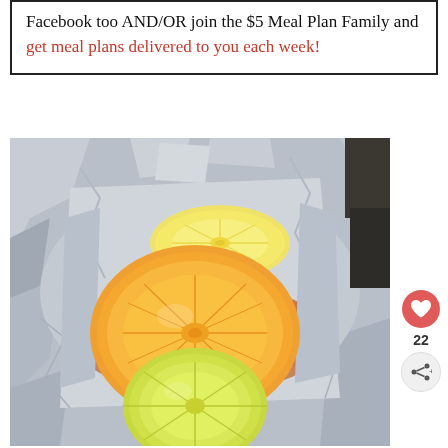Facebook too AND/OR join the $5 Meal Plan Family and get meal plans delivered to you each week!
[Figure (photo): Photo of fish wrapped in aluminum foil with lemon, orange, and lime slices on top, shown open on a grill or surface.]